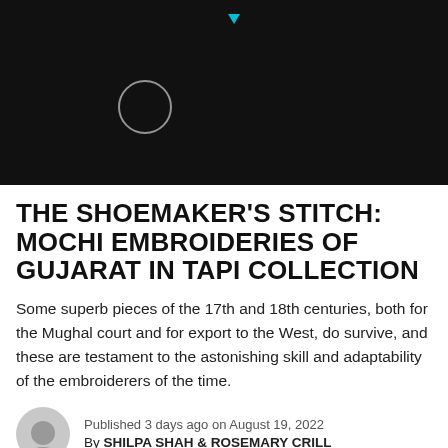[Figure (screenshot): Dark/black header image with a circular outline graphic and a small cyan triangle icon at the top center, resembling a loading screen or video thumbnail placeholder.]
THE SHOEMAKER'S STITCH: MOCHI EMBROIDERIES OF GUJARAT IN TAPI COLLECTION
Some superb pieces of the 17th and 18th centuries, both for the Mughal court and for export to the West, do survive, and these are testament to the astonishing skill and adaptability of the embroiderers of the time.
Published 3 days ago on August 19, 2022
By SHILPA SHAH & ROSEMARY CRILL
[Figure (illustration): Partial view of embroidered textile with floral and leaf motifs in red, blue, and green on a beige/cream background — Mochi embroidery from Gujarat.]